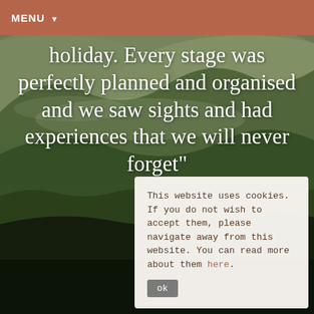MENU ▼
[Figure (photo): Aerial landscape view of rolling green hills with mist and forest, likely in a tea-growing or wine region.]
holiday. Every stage was perfectly planned and organised and we saw sights and had experiences that we will never forget"
This website uses cookies. If you do not wish to accept them, please navigate away from this website. You can read more about them here.
ok